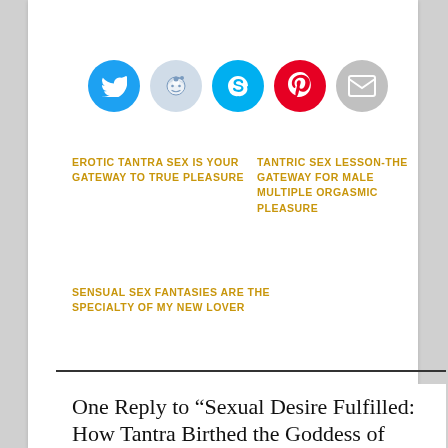[Figure (other): Row of 5 social sharing icon circles: Twitter (blue), Reddit (light blue-gray), Skype (blue), Pinterest (red), Email (gray)]
EROTIC TANTRA SEX IS YOUR GATEWAY TO TRUE PLEASURE
TANTRIC SEX LESSON-THE GATEWAY FOR MALE MULTIPLE ORGASMIC PLEASURE
SENSUAL SEX FANTASIES ARE THE SPECIALTY OF MY NEW LOVER
One Reply to “Sexual Desire Fulfilled: How Tantra Birthed the Goddess of